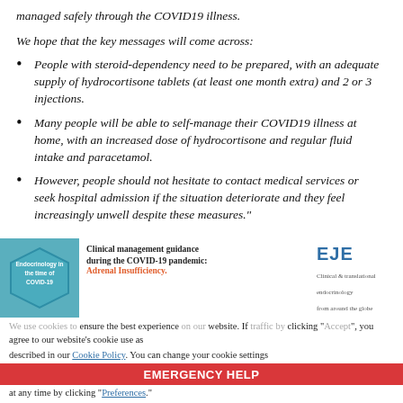managed safely through the COVID19 illness.
We hope that the key messages will come across:
People with steroid-dependency need to be prepared, with an adequate supply of hydrocortisone tablets (at least one month extra) and 2 or 3 injections.
Many people will be able to self-manage their COVID19 illness at home, with an increased dose of hydrocortisone and regular fluid intake and paracetamol.
However, people should not hesitate to contact medical services or seek hospital admission if the situation deteriorate and they feel increasingly unwell despite these measures."
[Figure (logo): Hexagonal logo for Endocrinology in the time of COVID-19]
Clinical management guidance during the COVID-19 pandemic: Adrenal Insufficiency.
[Figure (logo): EJE Clinical & translational endocrinology from around the globe logo]
We use cookies to... our website's cookie use as described in our Cookie Policy. You can change your cookie settings at any time by clicking "Preferences."
EMERGENCY HELP